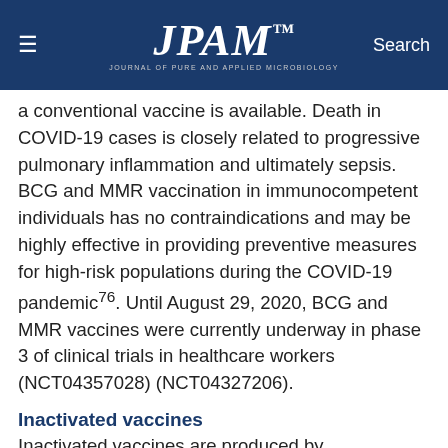JPAM — Journal of Pure and Applied Microbiology
a conventional vaccine is available. Death in COVID-19 cases is closely related to progressive pulmonary inflammation and ultimately sepsis. BCG and MMR vaccination in immunocompetent individuals has no contraindications and may be highly effective in providing preventive measures for high-risk populations during the COVID-19 pandemic76. Until August 29, 2020, BCG and MMR vaccines were currently underway in phase 3 of clinical trials in healthcare workers (NCT04357028) (NCT04327206).
Inactivated vaccines
Inactivated vaccines are produced by viruses/bacteria that are grown on culture media and then inactivated